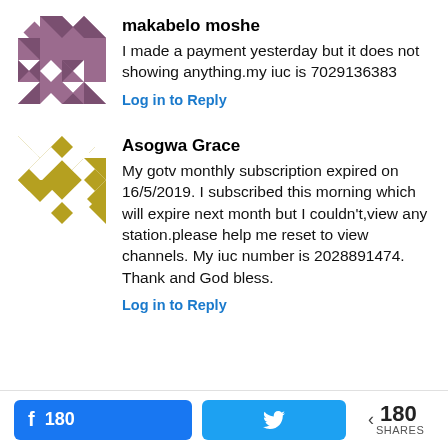[Figure (illustration): Avatar icon for makabelo moshe — geometric quilt pattern in purple and white]
makabelo moshe
I made a payment yesterday but it does not showing anything.my iuc is 7029136383
Log in to Reply
[Figure (illustration): Avatar icon for Asogwa Grace — geometric quilt pattern in olive/gold and white]
Asogwa Grace
My gotv monthly subscription expired on 16/5/2019. I subscribed this morning which will expire next month but I couldn't,view any station.please help me reset to view channels. My iuc number is 2028891474. Thank and God bless.
Log in to Reply
180  180 SHARES